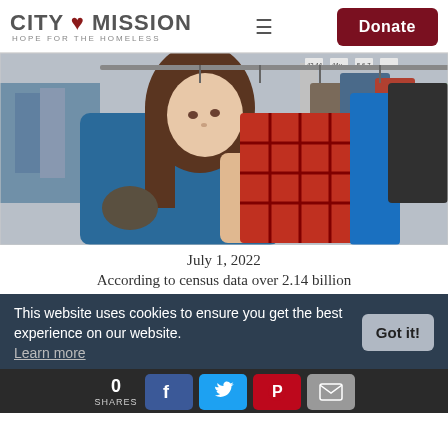CITY MISSION HOPE FOR THE HOMELESS | Donate
[Figure (photo): Woman in a blue sweater browsing clothing on racks in a thrift store, holding up a red plaid garment. Various colorful clothes on hangers visible in background.]
July 1, 2022
According to census data over 2.14 billion
This website uses cookies to ensure you get the best experience on our website.
Learn more
0 SHARES